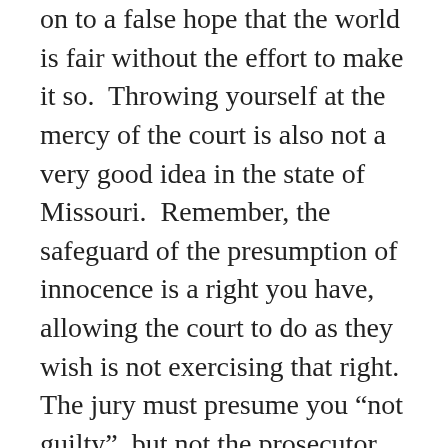on to a false hope that the world is fair without the effort to make it so.  Throwing yourself at the mercy of the court is also not a very good idea in the state of Missouri.  Remember, the safeguard of the presumption of innocence is a right you have, allowing the court to do as they wish is not exercising that right.  The jury must presume you “not guilty”, but not the prosecutor, needless to say, the prosecutor is charging you with a crime, they presume you're guilty; that's their job!  Walking in alone and saying “have at it” to the prosecutor and the judge is a bad idea without the assistance of counsel, you are essentially giving the state full unbridled power to do what they want with you, and they'd be